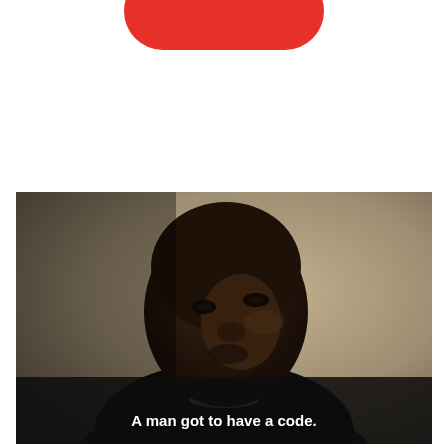[Figure (photo): Partial red rounded rectangle/pill shape visible at the top of the page, cropped at the top edge]
[Figure (photo): Movie/TV still showing a Black man wearing a black shirt, looking slightly upward with a serious expression, in a dimly lit room with beige/tan background. White subtitle text reads: A man got to have a code.]